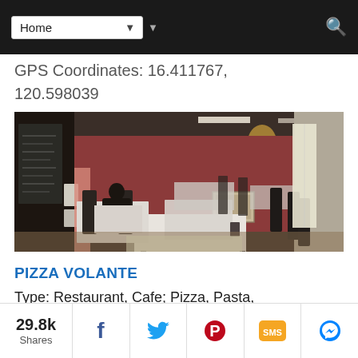Home (navigation dropdown)
GPS Coordinates: 16.411767, 120.598039
[Figure (photo): Interior of Pizza Volante restaurant showing dining area with red walls, tables, chairs, and a person seated alone.]
PIZZA VOLANTE
Type: Restaurant, Cafe; Pizza, Pasta, Rice Meals
Address: Theater Bldg, Session Road
Baguio City
29.8k Shares — Facebook, Twitter, Pinterest, SMS, Messenger share buttons